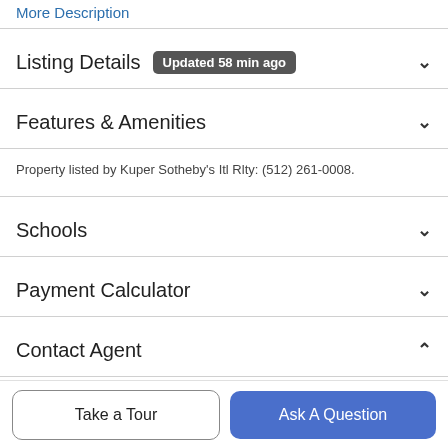More Description
Listing Details  Updated 58 min ago
Features & Amenities
Property listed by Kuper Sotheby's Itl Rlty: (512) 261-0008.
Schools
Payment Calculator
Contact Agent
[Figure (photo): Partial agent profile photo (head/flowers visible at bottom)]
Copy Contact